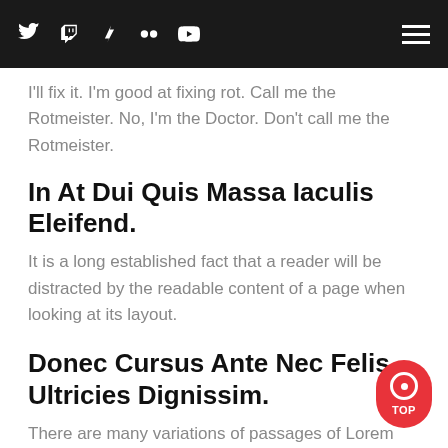[social icons: Twitter, Twitch, DeviantArt, Flickr, YouTube] [hamburger menu]
I'll fix it. I'm good at fixing rot. Call me the Rotmeister. No, I'm the Doctor. Don't call me the Rotmeister.
In At Dui Quis Massa Iaculis Eleifend.
It is a long established fact that a reader will be distracted by the readable content of a page when looking at its layout.
Donec Cursus Ante Nec Felis Ultricies Dignissim.
There are many variations of passages of Lorem Ipsum available, but the majority have suffered alteration in some form, by injected humour, or randomised words which don't look even slightly believable. If you are go to use a passage of Lorem Ipsum, you need to be sure there isn't anything embarrassing hidden in the middle of